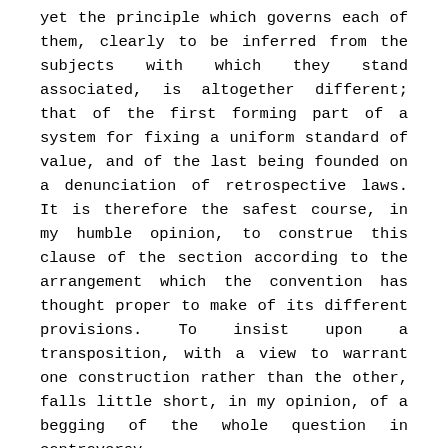yet the principle which governs each of them, clearly to be inferred from the subjects with which they stand associated, is altogether different; that of the first forming part of a system for fixing a uniform standard of value, and of the last being founded on a denunciation of retrospective laws. It is therefore the safest course, in my humble opinion, to construe this clause of the section according to the arrangement which the convention has thought proper to make of its different provisions. To insist upon a transposition, with a view to warrant one construction rather than the other, falls little short, in my opinion, of a begging of the whole question in controversy.
Page 25 U. S. 269
But why, it has been asked, forbid the states to pass laws making anything but gold and silver coin a tender in payment of debts contracted subsequent as well as prior